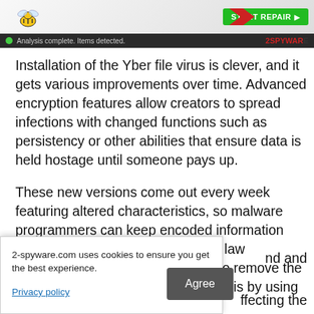[Figure (screenshot): Top banner of 2-spyware.com antivirus software ad showing a bee mascot, a green START REPAIR button, and a dark status bar reading 'Analysis complete. Items detected.' with the 2SPYWARE logo.]
Installation of the Yber file virus is clever, and it gets various improvements over time. Advanced encryption features allow creators to spread infections with changed functions such as persistency or other abilities that ensure data is held hostage until someone pays up.
These new versions come out every week featuring altered characteristics, so malware programmers can keep encoded information enslaved without interruption from law enforcement agencies. You need to remove the infection, and the best way to do so is by using SpyHunter 5 or
2-spyware.com uses cookies to ensure you get the best experience.
Privacy policy
Agree
nd and
ffecting the